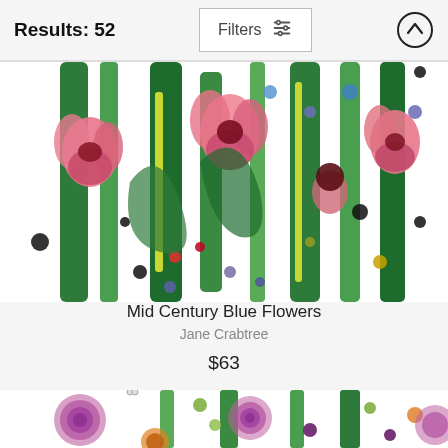Results: 52
[Figure (screenshot): Filters button with horizontal sliders icon]
[Figure (photo): Mid Century Blue Flowers tapestry product image showing colorful flowers with green stems, pink petals and polka dots on white background]
Mid Century Blue Flowers
Jane Crabtree
$63
[Figure (photo): Second tapestry product image showing purple swirling roses, green leaves, and colorful dots on white background]